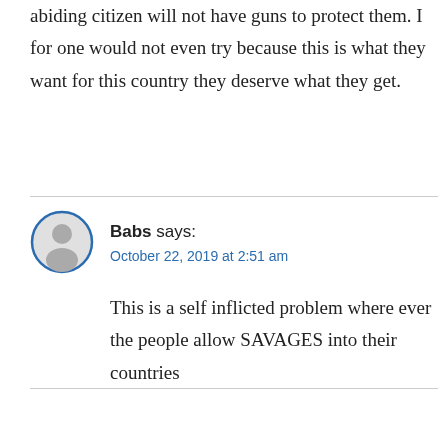abiding citizen will not have guns to protect them. I for one would not even try because this is what they want for this country they deserve what they get.
[Figure (illustration): Circular avatar icon with gray silhouette of a person, outlined in blue]
Babs says:
October 22, 2019 at 2:51 am
This is a self inflicted problem where ever the people allow SAVAGES into their countries